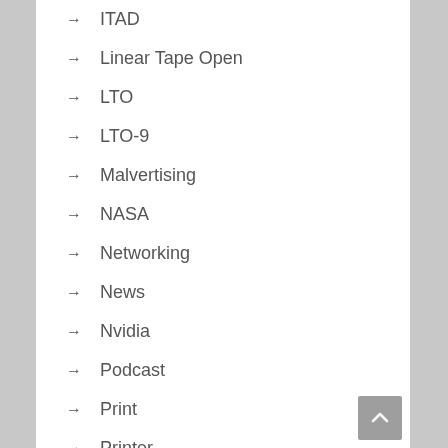→ ITAD
→ Linear Tape Open
→ LTO
→ LTO-9
→ Malvertising
→ NASA
→ Networking
→ News
→ Nvidia
→ Podcast
→ Print
→ Printer